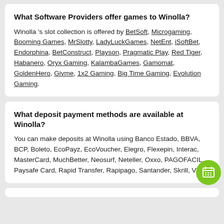What Software Providers offer games to Winolla?
Winolla 's slot collection is offered by BetSoft, Microgaming, Booming Games, MrSlotty, LadyLuckGames, NetEnt, iSoftBet, Endorphina, BetConstruct, Playson, Pragmatic Play, Red Tiger, Habanero, Oryx Gaming, KalambaGames, Gamomat, GoldenHero, Givme, 1x2 Gaming, Big Time Gaming, Evolution Gaming.
What deposit payment methods are available at Winolla?
You can make deposits at Winolla using Banco Estado, BBVA, BCP, Boleto, EcoPayz, EcoVoucher, Elegro, Flexepin, Interac, MasterCard, MuchBetter, Neosurf, Neteller, Oxxo, PAGOFACIL, Paysafe Card, Rapid Transfer, Rapipago, Santander, Skrill, Visa.